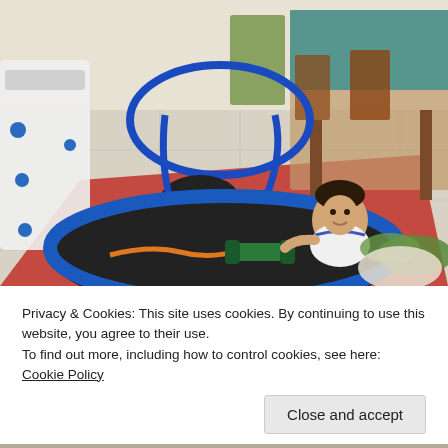[Figure (photo): Indoor room photo showing a baby/toddler sitting near a small trampoline with dumbbells and a jump rope on it, a blue ab-roller exercise machine, a children's toy walker on the left, a dining table with chairs on the right, and a stuffed crocodile toy. Red mat on the floor.]
Privacy & Cookies: This site uses cookies. By continuing to use this website, you agree to their use.
To find out more, including how to control cookies, see here: Cookie Policy
Close and accept
[Figure (photo): Partial bottom strip of another indoor photo.]